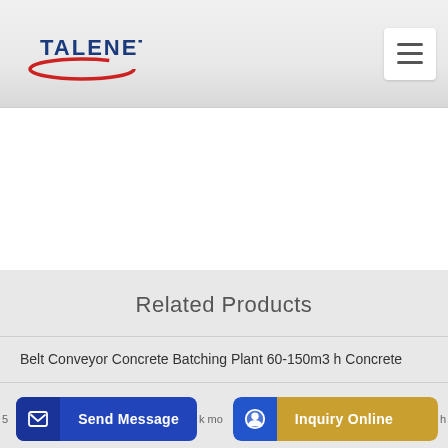TALENET
Related Products
Belt Conveyor Concrete Batching Plant 60-150m3 h Concrete
Concrete Pumping Service in Lawai HI
Send Message | Inquiry Online